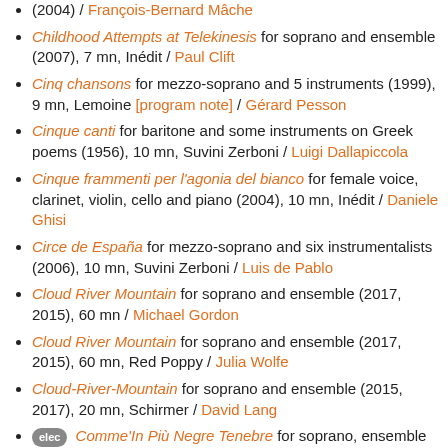(2004) / François-Bernard Mâche
Childhood Attempts at Telekinesis for soprano and ensemble (2007), 7 mn, Inédit / Paul Clift
Cinq chansons for mezzo-soprano and 5 instruments (1999), 9 mn, Lemoine [program note] / Gérard Pesson
Cinque canti for baritone and some instruments on Greek poems (1956), 10 mn, Suvini Zerboni / Luigi Dallapiccola
Cinque frammenti per l'agonia del bianco for female voice, clarinet, violin, cello and piano (2004), 10 mn, Inédit / Daniele Ghisi
Circe de España for mezzo-soprano and six instrumentalists (2006), 10 mn, Suvini Zerboni / Luis de Pablo
Cloud River Mountain for soprano and ensemble (2017, 2015), 60 mn / Michael Gordon
Cloud River Mountain for soprano and ensemble (2017, 2015), 60 mn, Red Poppy / Julia Wolfe
Cloud-River-Mountain for soprano and ensemble (2015, 2017), 20 mn, Schirmer / David Lang
[elec] Comme'In Più Negre Tenebre for soprano, ensemble and electronics (1995), 12 mn, partition retirée du catalogue / Daniel D'Adamo
Contre Mithra for alto voice and ensemble (2000), 9 mn / Jean-Luc Fafchamps